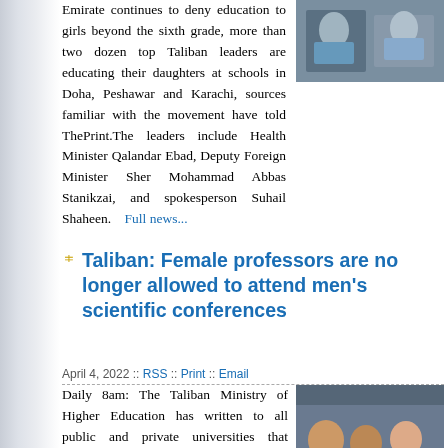Emirate continues to deny education to girls beyond the sixth grade, more than two dozen top Taliban leaders are educating their daughters at schools in Doha, Peshawar and Karachi, sources familiar with the movement have told ThePrint.The leaders include Health Minister Qalandar Ebad, Deputy Foreign Minister Sher Mohammad Abbas Stanikzai, and spokesperson Suhail Shaheen. Full news...
[Figure (photo): Photo of people holding blue signs/papers]
Taliban: Female professors are no longer allowed to attend men's scientific conferences
April 4, 2022 :: RSS :: Print :: Email
[Figure (photo): Photo of people seated at a conference table, appears to be women in colorful dress]
Daily 8am: The Taliban Ministry of Higher Education has written to all public and private universities that female professors are no longer allowed to attend men's